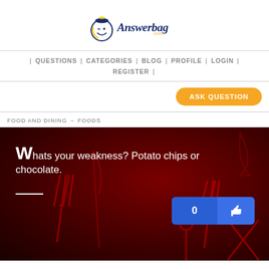[Figure (logo): Answerbag.com logo — a winking smiley face in a bag shape with the text 'Answerbag .com']
| QUESTIONS | CATEGORIES | BLOG | PROFILE | LOGIN | REGISTER |
ASK QUESTION
FOOD AND DINING → FOODS
[Figure (screenshot): Dark red hero banner with decorative cutlery silhouettes. Text reads: 'Whats your weakness? Potato chips or chocolate.' with a white underline. A blue button shows '0' count and a thumbs up icon.]